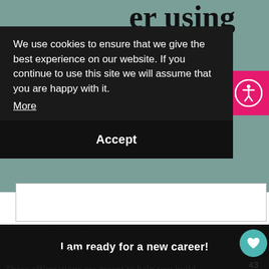[Figure (screenshot): Partially visible website page background showing a teal/muted green banner area with partial title text 'er using' at top and partial subtitle 'esome ways to m' visible, along with a white input field and black CTA button area]
[Figure (screenshot): Cookie consent overlay with dark background. Text: 'We use cookies to ensure that we give the best experience on our website. If you continue to use this site we will assume that you are happy with it. More' with an Accept button below.]
30 Positive Career Affirmations for Great Success
These affirmations are meant to help you build confidence that you will find the right career for you.